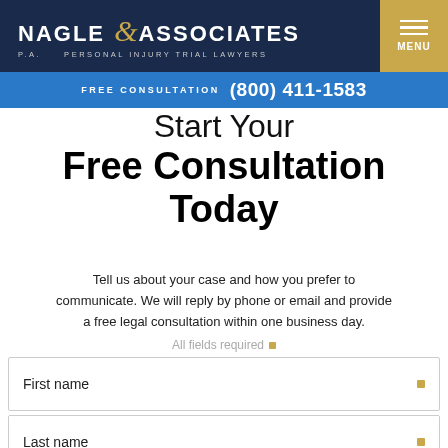[Figure (logo): Nagle & Associates P.A. Personal Injury Trial Lawyers logo on dark navy background with gold ampersand]
FREE CONSULTATION (800) 411-1583
Start Your Free Consultation Today
Tell us about your case and how you prefer to communicate. We will reply by phone or email and provide a free legal consultation within one business day.
All fields required
First name
Last name